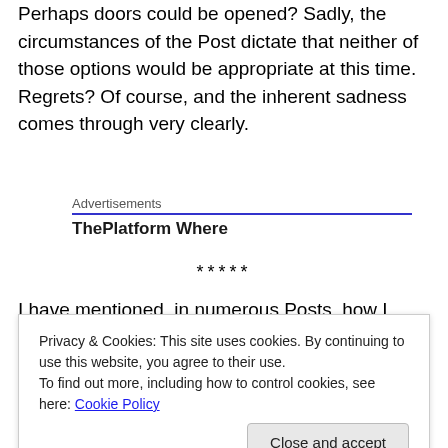Perhaps doors could be opened? Sadly, the circumstances of the Post dictate that neither of those options would be appropriate at this time. Regrets? Of course, and the inherent sadness comes through very clearly.
[Figure (other): Advertisements box with blue underline and partial ThePlatform Where text]
*****
I have mentioned, in numerous Posts, how I often get
Privacy & Cookies: This site uses cookies. By continuing to use this website, you agree to their use. To find out more, including how to control cookies, see here: Cookie Policy
won't go into the details because they have been noted in